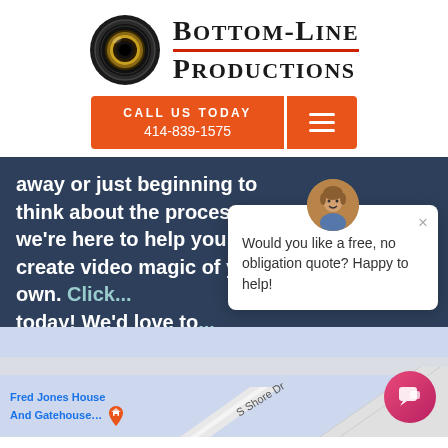[Figure (logo): Bottom-Line Productions logo with camera lens icon and company name]
CALL US TODAY 414-839-1575
away or just beginning to think about the process, we're here to help you create video magic of your own. Click ... today! We'd love to...
Would you like a free, no obligation quote? Happy to help!
[Figure (map): Google Maps screenshot showing Fred Jones House And Gatehouse location on S Shore Dr]